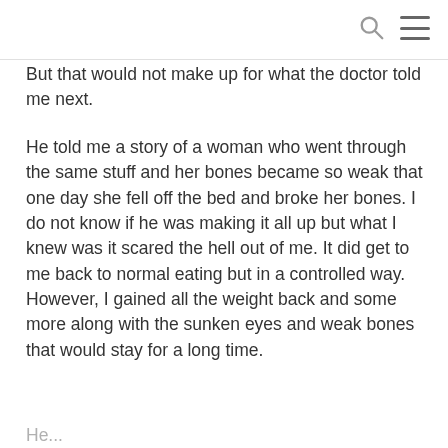But that would not make up for what the doctor told me next.
He told me a story of a woman who went through the same stuff and her bones became so weak that one day she fell off the bed and broke her bones. I do not know if he was making it all up but what I knew was it scared the hell out of me. It did get to me back to normal eating but in a controlled way. However, I gained all the weight back and some more along with the sunken eyes and weak bones that would stay for a long time.
He...